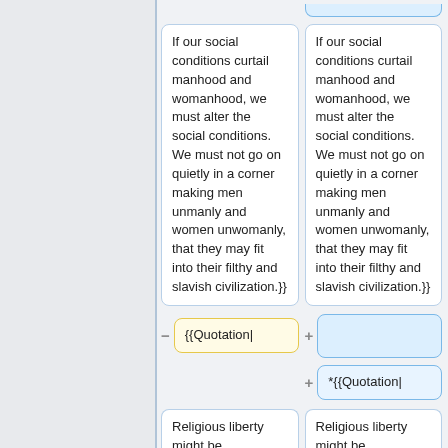If our social conditions curtail manhood and womanhood, we must alter the social conditions. We must not go on quietly in a corner making men unmanly and women unwomanly, that they may fit into their filthy and slavish civilization.}}
If our social conditions curtail manhood and womanhood, we must alter the social conditions. We must not go on quietly in a corner making men unmanly and women unwomanly, that they may fit into their filthy and slavish civilization.}}
{{Quotation|
*{{Quotation|
Religious liberty might be
Religious liberty might be